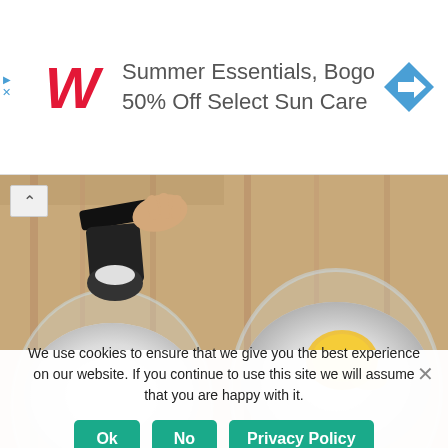[Figure (infographic): Walgreens advertisement banner: Summer Essentials, Bogo 50% Off Select Sun Care, with red Walgreens W logo and blue navigation arrow icon]
[Figure (photo): Two side-by-side cooking photos: left shows a hand scooping white powder/flour in a glass bowl; right shows a glass bowl of white flour with a cracked egg yolk on top. Watermark: ©WWW.ASMALLBITE.COM]
3. Now, pour water slowly and combine everything
We use cookies to ensure that we give you the best experience on our website. If you continue to use this site we will assume that you are happy with it.
Ok | No | Privacy Policy